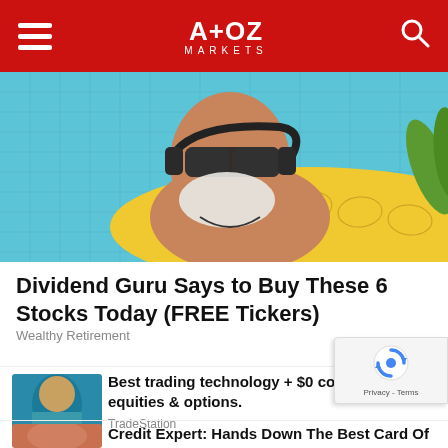A+OZ MARKETS
[Figure (photo): Older man with white beard wearing sunglasses and headphones, relaxing on a yellow pineapple pool float in a swimming pool]
Dividend Guru Says to Buy These 6 Stocks Today (FREE Tickers)
Wealthy Retirement
[Figure (photo): Woman working at computer, thumbnail image for TradeStation ad]
Best trading technology + $0 commission equities & options.
TradeStation
[Figure (photo): Person thumbnail for credit card article]
Credit Expert: Hands Down The Best Card Of